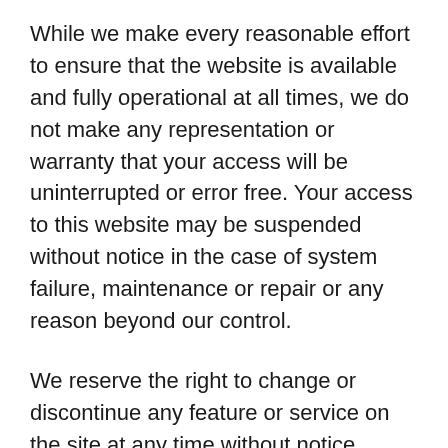While we make every reasonable effort to ensure that the website is available and fully operational at all times, we do not make any representation or warranty that your access will be uninterrupted or error free. Your access to this website may be suspended without notice in the case of system failure, maintenance or repair or any reason beyond our control.
We reserve the right to change or discontinue any feature or service on the site at any time without notice.
We reserve the right to terminate your access to this website and prevent further access without warning or notice in response to breaches of this